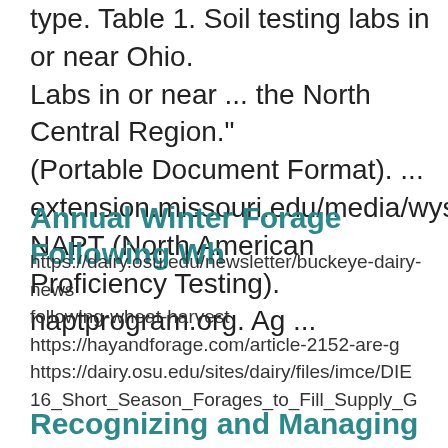type. Table 1. Soil testing labs in or near Ohio. Labs in or near ... the North Central Region." (Portable Document Format). ... extension.missouri.edu/media/wysiwyg/Exten NAPT (North American Proficiency Testing). naptprogram.org. Ag ...
Annual Winter Forage Following Wh
https://dairy.osu.edu/newsletter/buckeye-dairy-news following-wheat-harvest
https://hayandforage.com/article-2152-are-g
https://dairy.osu.edu/sites/dairy/files/imce/DIE 16_Short_Season_Forages_to_Fill_Supply_G
Recognizing and Managing Heat Stre